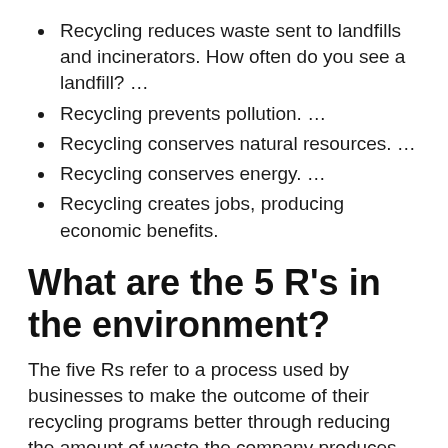Recycling reduces waste sent to landfills and incinerators. How often do you see a landfill? …
Recycling prevents pollution. …
Recycling conserves natural resources. …
Recycling conserves energy. …
Recycling creates jobs, producing economic benefits.
What are the 5 R's in the environment?
The five Rs refer to a process used by businesses to make the outcome of their recycling programs better through reducing the amount of waste the company produces